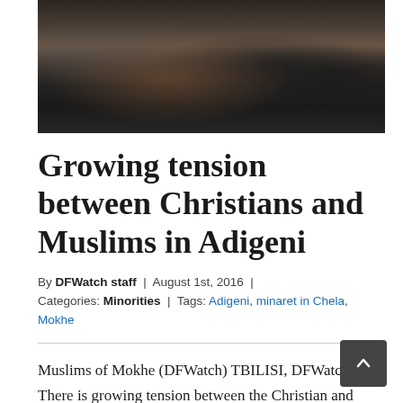[Figure (photo): Dark photograph of a crowd of people in winter clothing, shot from a low angle. Figures appear in silhouette and shadow against a dark background.]
Growing tension between Christians and Muslims in Adigeni
By DFWatch staff | August 1st, 2016 | Categories: Minorities | Tags: Adigeni, minaret in Chela, Mokhe
Muslims of Mokhe (DFWatch) TBILISI, DFWatch–There is growing tension between the Christian and Muslim communities in the small village Adigeni, west of Akhaltsikhe. The Samtskhe–Javakheti region, where Adigeni village is located, was